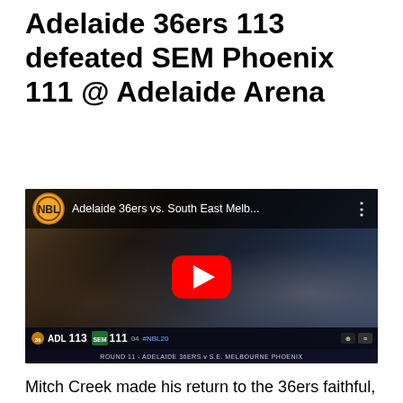Adelaide 36ers 113 defeated SEM Phoenix 111 @ Adelaide Arena
[Figure (screenshot): YouTube video thumbnail showing Adelaide 36ers vs. South East Melb... NBL game with play button overlay. Score bar shows ADL 113 SEM 111. Round 11 - Adelaide 36ers v S.E. Melbourne Phoenix.]
Mitch Creek made his return to the 36ers faithful, and thanks to a 27 point and 11 rebound performance, the fans went absolutely